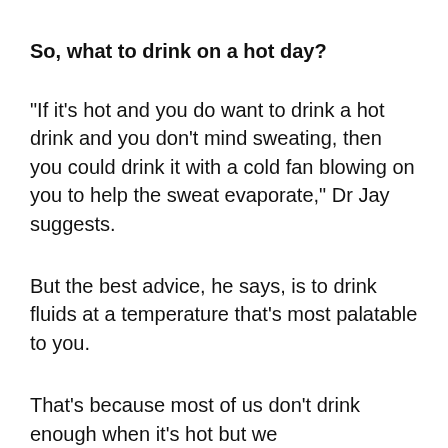So, what to drink on a hot day?
"If it's hot and you do want to drink a hot drink and you don't mind sweating, then you could drink it with a cold fan blowing on you to help the sweat evaporate," Dr Jay suggests.
But the best advice, he says, is to drink fluids at a temperature that's most palatable to you.
That's because most of us don't drink enough when it's hot but we